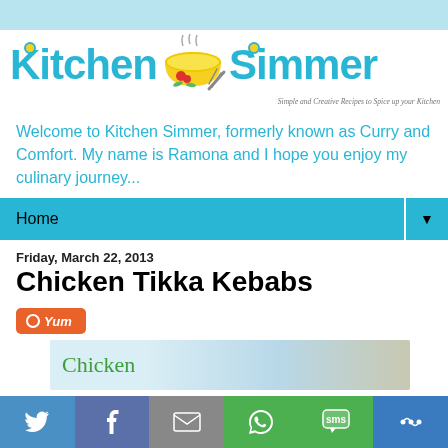[Figure (logo): Kitchen Simmer blog logo with teal text, yellow bowl icon with steam, tomatoes, whisk, and tagline 'Simple and Creative Recipes to Spice up your Kitchen']
Welcome to Kitchen Simmer, formerly known as Curry and Comfort. My name is Ramona and I hope you enjoy my culinary journey...
Home ▼
Friday, March 22, 2013
Chicken Tikka Kebabs
[Figure (other): Yum button - orange rounded rectangle with 'Yum' text]
[Figure (photo): Partial article image showing 'Chicken' text in green on light background with food photo]
[Figure (infographic): Social sharing bar with Twitter (blue), Facebook (dark blue), Email (gray), WhatsApp (green), SMS (green), More (blue) icons]